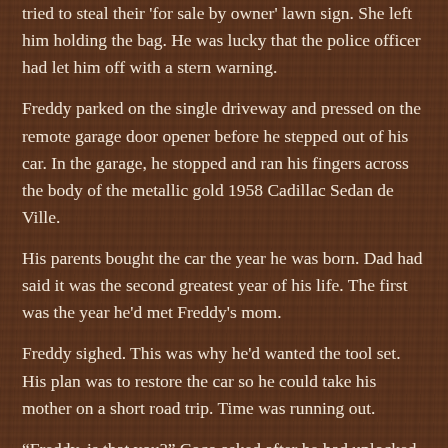tried to steal their 'for sale by owner' lawn sign. She left him holding the bag. He was lucky that the police officer had let him off with a stern warning.
Freddy parked on the single driveway and pressed on the remote garage door opener before he stepped out of his car. In the garage, he stopped and ran his fingers across the body of the metallic gold 1958 Cadillac Sedan de Ville.
His parents bought the car the year he was born. Dad had said it was the second greatest year of his life. The first was the year he'd met Freddy's mom.
Freddy sighed. This was why he'd wanted the tool set. His plan was to restore the car so he could take his mother on a short road trip. Time was running out.
“Freddy, is that you?” Coco asked after he had unlocked the door leading from the garage to the house and walked in.
Who else could it be? Silent, he hung his jacket on the entryway hook and walked towards the dining room.